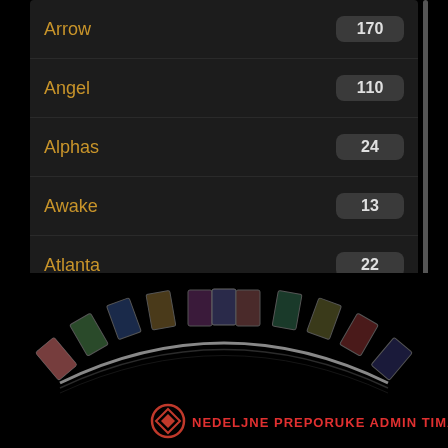Arrow  170
Angel  110
Alphas  24
Awake  13
Atlanta  22
Atlantis  25
[Figure (illustration): Arc of movie poster thumbnails arranged in a curved film strip, with red logo and text 'NEDELJNE PREPORUKE ADMIN TIMA' at the bottom]